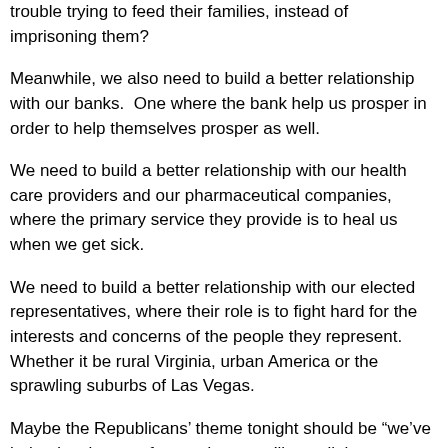about a police program to mentor young, minority fathers who got in trouble trying to feed their families, instead of imprisoning them?
Meanwhile, we also need to build a better relationship with our banks.  One where the bank help us prosper in order to help themselves prosper as well.
We need to build a better relationship with our health care providers and our pharmaceutical companies, where the primary service they provide is to heal us when we get sick.
We need to build a better relationship with our elected representatives, where their role is to fight hard for the interests and concerns of the people they represent.  Whether it be rural Virginia, urban America or the sprawling suburbs of Las Vegas.
Maybe the Republicans’ theme tonight should be “we’ve helped stoke your fear and now we’ll get all those nasty people making you afraid”.  Fear, of course, is the unofficial mantra of the GOP. Fear the